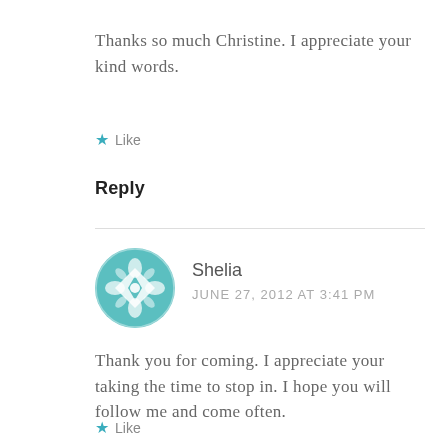Thanks so much Christine. I appreciate your kind words.
★ Like
Reply
Shelia
JUNE 27, 2012 AT 3:41 PM
Thank you for coming. I appreciate your taking the time to stop in. I hope you will follow me and come often.
★ Like